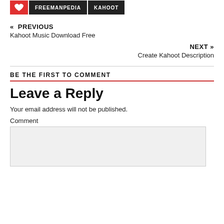[Figure (other): Navigation bar with heart icon (red), FREEMANPEDIA button (dark), and KAHOOT button (dark)]
« PREVIOUS
Kahoot Music Download Free
NEXT »
Create Kahoot Description
BE THE FIRST TO COMMENT
Leave a Reply
Your email address will not be published.
Comment